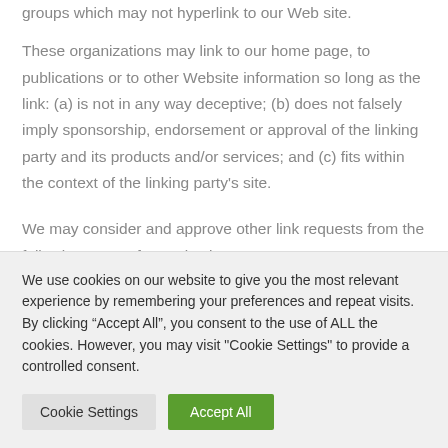groups which may not hyperlink to our Web site.
These organizations may link to our home page, to publications or to other Website information so long as the link: (a) is not in any way deceptive; (b) does not falsely imply sponsorship, endorsement or approval of the linking party and its products and/or services; and (c) fits within the context of the linking party's site.
We may consider and approve other link requests from the following types of organizations:
We use cookies on our website to give you the most relevant experience by remembering your preferences and repeat visits. By clicking “Accept All”, you consent to the use of ALL the cookies. However, you may visit "Cookie Settings" to provide a controlled consent.